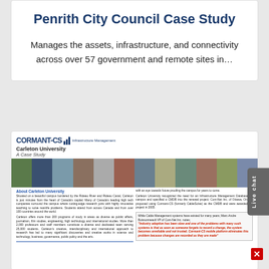Penrith City Council Case Study
Manages the assets, infrastructure, and connectivity across over 57 government and remote sites in…
[Figure (screenshot): Screenshot of a Cormant-CS Infrastructure Management case study document for Carleton University, showing the logo, a photo collage of campus scenes, a two-column text layout about Carleton University with an About section and a quote box containing a statement from Marc-Andre Boissonneault VP of Com-Net Inc. about industry adoption and the Cormant-CS mobile platform.]
Live chat